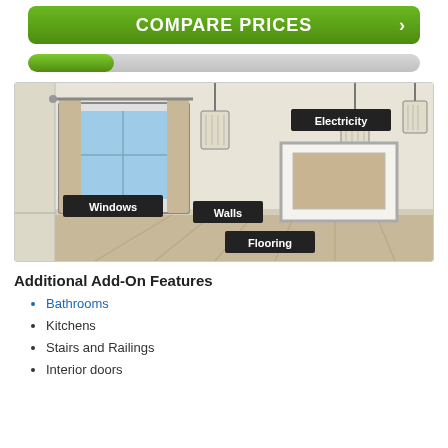[Figure (infographic): Green button with text COMPARE PRICES and a right arrow chevron]
[Figure (infographic): Progress bar, partially filled green on left, gray on right]
[Figure (illustration): Interior room illustration with labeled features: Windows, Electricity, Walls, Flooring]
Additional Add-On Features
Bathrooms
Kitchens
Stairs and Railings
Interior doors